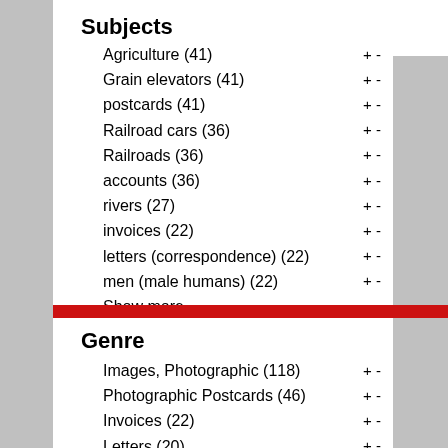Subjects
Agriculture (41)
Grain elevators (41)
postcards (41)
Railroad cars (36)
Railroads (36)
accounts (36)
rivers (27)
invoices (22)
letters (correspondence) (22)
men (male humans) (22)
Show more
Genre
Images, Photographic (118)
Photographic Postcards (46)
Invoices (22)
Letters (20)
Maps (14)
Receipts (10)
Assessments (3)